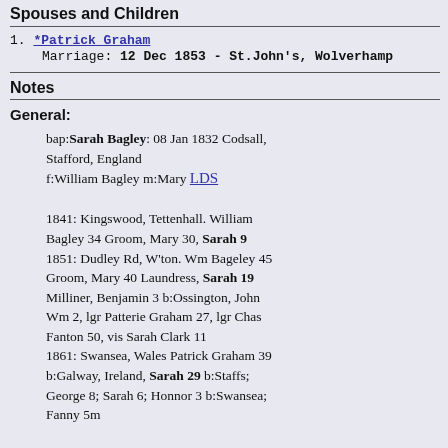Spouses and Children
1. *Patrick Graham
Marriage: 12 Dec 1853 - St.John's, Wolverhamp
Notes
General:
bap:Sarah Bagley: 08 Jan 1832 Codsall, Stafford, England
f:William Bagley m:Mary LDS

1841: Kingswood, Tettenhall. William Bagley 34 Groom, Mary 30, Sarah 9
1851: Dudley Rd, W'ton. Wm Bageley 45 Groom, Mary 40 Laundress, Sarah 19 Milliner, Benjamin 3 b:Ossington, John Wm 2, lgr Patterie Graham 27, lgr Chas Fanton 50, vis Sarah Clark 11
1861: Swansea, Wales Patrick Graham 39 b:Galway, Ireland, Sarah 29 b:Staffs; George 8; Sarah 6; Honnor 3 b:Swansea; Fanny 5m